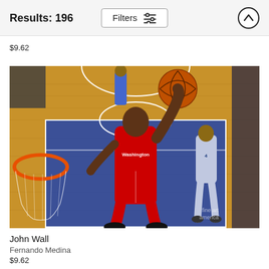Results: 196   Filters
$9.62
[Figure (photo): NBA basketball player John Wall of the Washington Wizards in a red uniform dunking the ball at the rim during a game against the Orlando Magic. A Magic player wearing #4 is visible in the background. The Fine Art America watermark is visible in the lower right corner.]
John Wall
Fernando Medina
$9.62